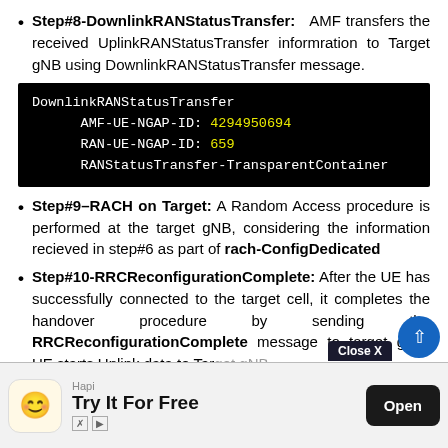Step#8-DownlinkRANStatusTransfer: AMF transfers the received UplinkRANStatusTransfer informration to Target gNB using DownlinkRANStatusTransfer message.
[Figure (screenshot): Code block showing DownlinkRANStatusTransfer message with AMF-UE-NGAP-ID: 4294950694, RAN-UE-NGAP-ID: 659, RANStatusTransfer-TransparentContainer]
Step#9–RACH on Target: A Random Access procedure is performed at the target gNB, considering the information recieved in step#6 as part of rach-ConfigDedicated
Step#10-RRCReconfigurationComplete: After the UE has successfully connected to the target cell, it completes the handover procedure by sending the RRCReconfigurationComplete message to target gNB. UE starts Uplink data to Target gNB.
S... [partially obscured by advertisement]